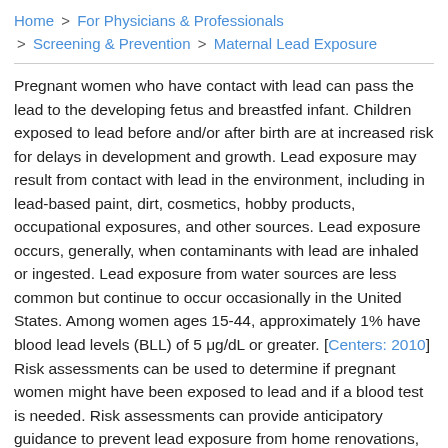Home > For Physicians & Professionals > Screening & Prevention > Maternal Lead Exposure
Pregnant women who have contact with lead can pass the lead to the developing fetus and breastfed infant. Children exposed to lead before and/or after birth are at increased risk for delays in development and growth. Lead exposure may result from contact with lead in the environment, including in lead-based paint, dirt, cosmetics, hobby products, occupational exposures, and other sources. Lead exposure occurs, generally, when contaminants with lead are inhaled or ingested. Lead exposure from water sources are less common but continue to occur occasionally in the United States. Among women ages 15-44, approximately 1% have blood lead levels (BLL) of 5 μg/dL or greater. [Centers: 2010] Risk assessments can be used to determine if pregnant women might have been exposed to lead and if a blood test is needed. Risk assessments can provide anticipatory guidance to prevent lead exposure from home renovations, occupational exposures, crafts, herbal products, or other avoidable sources. The first priority for treatment is removing the source of lead exposure. Guidelines.